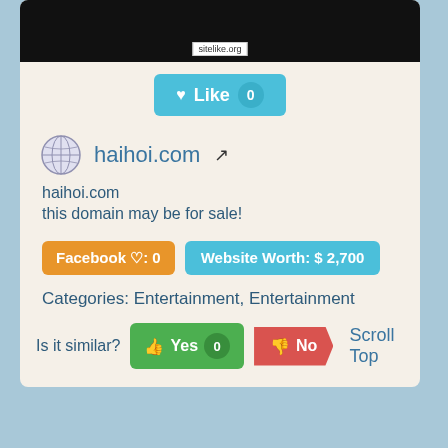[Figure (screenshot): Dark screenshot area with sitelike.org watermark label at bottom center]
♥ Like 0
haihoi.com
haihoi.com
this domain may be for sale!
Facebook ♡: 0   Website Worth: $ 2,700
Categories: Entertainment, Entertainment
Is it similar? Yes 0  No  Scroll Top